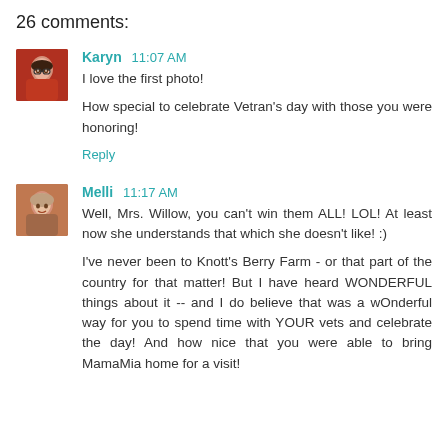26 comments:
Karyn 11:07 AM
I love the first photo!

How special to celebrate Vetran's day with those you were honoring!
Reply
Melli 11:17 AM
Well, Mrs. Willow, you can't win them ALL! LOL! At least now she understands that which she doesn't like! :)

I've never been to Knott's Berry Farm - or that part of the country for that matter! But I have heard WONDERFUL things about it -- and I do believe that was a wOnderful way for you to spend time with YOUR vets and celebrate the day! And how nice that you were able to bring MamaMia home for a visit!